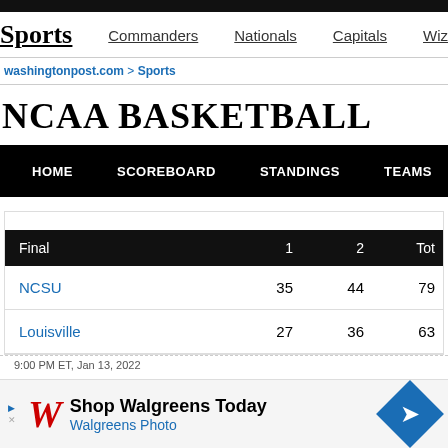Sports  Commanders  Nationals  Capitals  Wiza
washingtonpost.com > Sports
NCAA BASKETBALL
HOME  SCOREBOARD  STANDINGS  TEAMS  MORE...
| Final | 1 | 2 | Tot |
| --- | --- | --- | --- |
| NCSU | 35 | 44 | 79 |
| Louisville | 27 | 36 | 63 |
9:00 PM ET, Jan 13, 2022